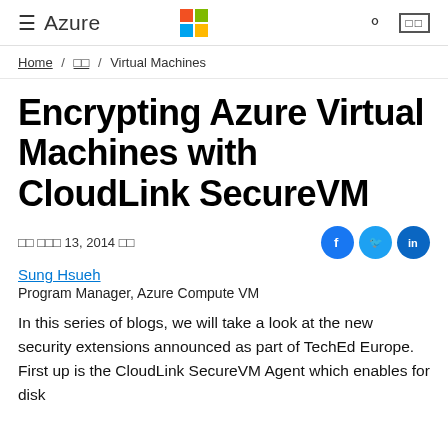Azure — Microsoft Azure
Home / □□ / Virtual Machines
Encrypting Azure Virtual Machines with CloudLink SecureVM
□□ □□□ 13, 2014 □□
Sung Hsueh
Program Manager, Azure Compute VM
In this series of blogs, we will take a look at the new security extensions announced as part of TechEd Europe.  First up is the CloudLink SecureVM Agent which enables for disk